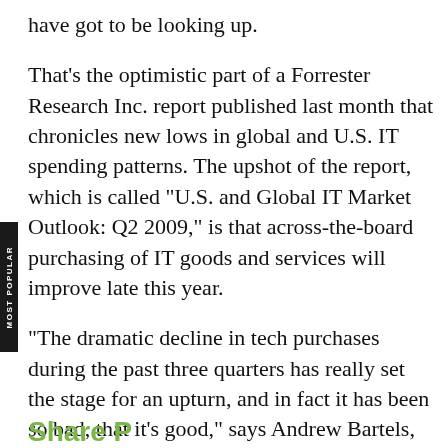have got to be looking up.
That's the optimistic part of a Forrester Research Inc. report published last month that chronicles new lows in global and U.S. IT spending patterns. The upshot of the report, which is called "U.S. and Global IT Market Outlook: Q2 2009," is that across-the-board purchasing of IT goods and services will improve late this year.
"The dramatic decline in tech purchases during the past three quarters has really set the stage for an upturn, and in fact it has been so bad, that it's good," says Andrew Bartels, the report's author. "The fourth quarter of 2008 and the first two quarters this year have created a very low base from which the market can make a significant rebound."